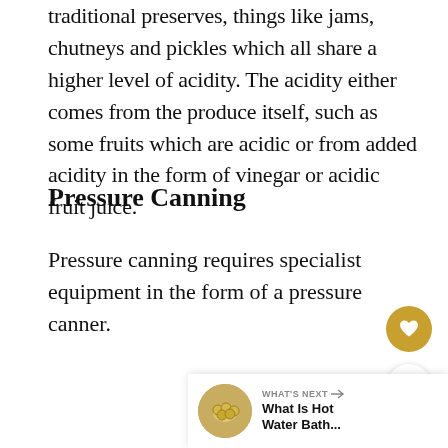traditional preserves, things like jams, chutneys and pickles which all share a higher level of acidity. The acidity either comes from the produce itself, such as some fruits which are acidic or from added acidity in the form of vinegar or acidic fruit juice.
Pressure Canning
Pressure canning requires specialist equipment in the form of a pressure canner.
[Figure (other): Heart favourite button (gold circle with heart icon) and share button (white circle with share icon)]
[Figure (other): What's Next widget showing thumbnail photo of canning jars with text 'What Is Hot Water Bath...']